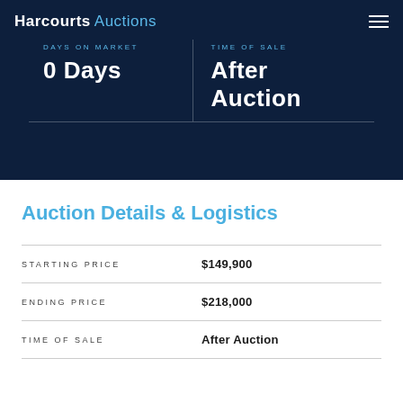Harcourts Auctions
DAYS ON MARKET: 0 Days
TIME OF SALE: After Auction
Auction Details & Logistics
|  |  |
| --- | --- |
| STARTING PRICE | $149,900 |
| ENDING PRICE | $218,000 |
| TIME OF SALE | After Auction |